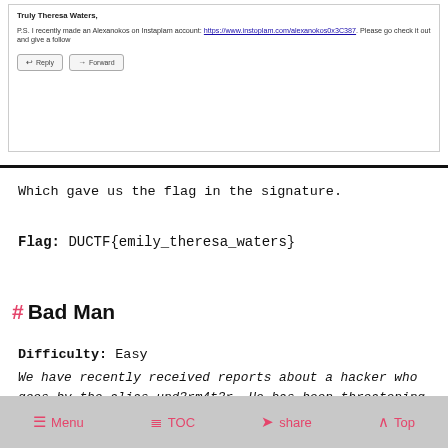[Figure (screenshot): Screenshot of an email showing sender 'Truly Theresa Waters' with body text: 'P.S. I recently made an Alexanokos on Instaplam account: https://www.instoplam.com/alexanokos0x3C387. Please go check it out and give a follow' with Reply and Forward buttons.]
Which gave us the flag in the signature.
Flag: DUCTF{emily_theresa_waters}
# Bad Man
Difficulty: Easy
We have recently received reports about a hacker who goes by the alias und3rm4t3r. He has been threatening innocent people for money and must be stopped. Help us find him and get us the flag.
Menu  TOC  share  Top